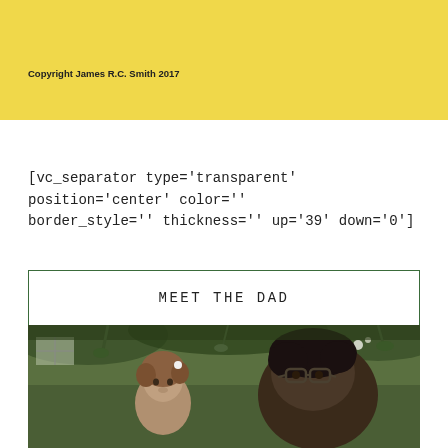[Figure (other): Yellow background banner at top of page]
Copyright James R.C. Smith 2017
[vc_separator type='transparent' position='center' color='' border_style='' thickness='' up='39' down='0']
MEET THE DAD
[Figure (photo): Photograph of a man with dark hair and glasses bending toward a young curly-haired girl with a flower in her hair, outdoors with green foliage in background]